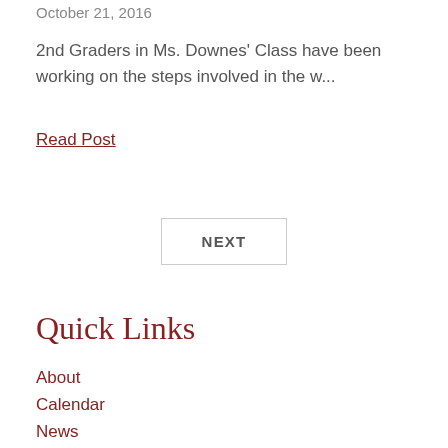October 21, 2016
2nd Graders in Ms. Downes' Class have been working on the steps involved in the w...
Read Post
NEXT
Quick Links
About
Calendar
News
Newsletter